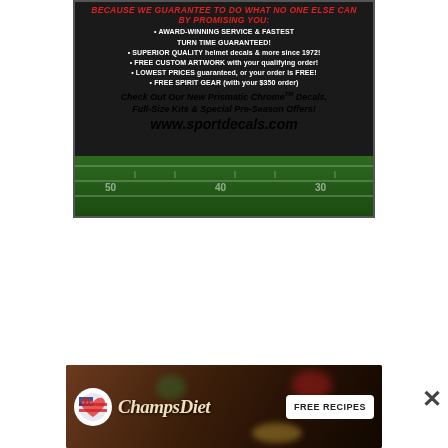[Figure (infographic): SportDecals.com advertisement on dark background with football field graphic at bottom. Red italic header text followed by white bullet points listing service guarantees, ending with website URL www.sportdecals.com]
[Figure (infographic): ChampsDiet advertisement banner with dark food background, circular logo with American flag heart, cursive ChampsDiet text, and FREE RECIPES button]